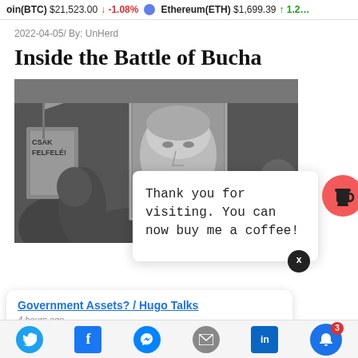Bitcoin(BTC) $21,523.00 ↓ -1.08%   Ethereum(ETH) $1,699.39 ↑ 1.2…
2022-04-05/ By: UnHerd
Inside the Battle of Bucha
[Figure (photo): Black and white protest photo showing a person holding a sign and a framed portrait of a man's face in a crowd]
Thank you for visiting. You can now buy me a coffee!
Government Assets? / Hugo Talks
4 hours ago